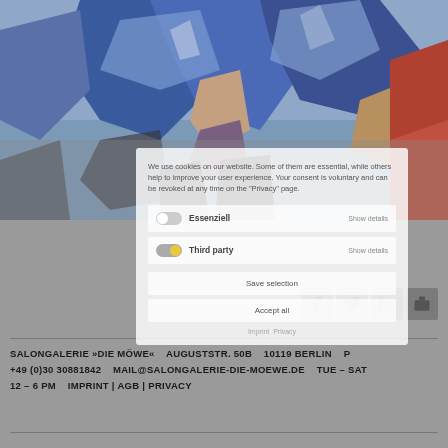[Figure (illustration): Cubist-style painting showing figures in blue, grey, and red tones — appears to depict people in dynamic poses]
We use cookies on our website. Some of them are essential, while others help to improve your user experience. Your consent is voluntary and can be revoked at any time on the "Privacy" page.
Essenziell   Show details
Third party   Show details
Save selection
Accept all
Imprint   Privacy
SALONGALERIE »DIE MÖWE«   AUGUSTSTR. 50B   10119 BERLIN   P +49 (0)30 30881842   MAIL@SALONGALERIE-DIE-MOEWE.DE   TUE – SAT 12 – 6 PM   IMPRINT | AGB | PRIVACY